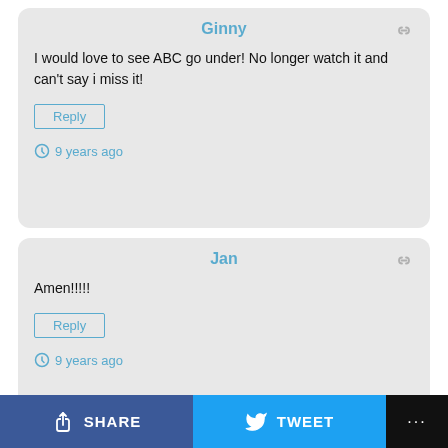Ginny
I would love to see ABC go under! No longer watch it and can't say i miss it!
Reply
9 years ago
Jan
Amen!!!!!
Reply
9 years ago
SHARE
TWEET
···